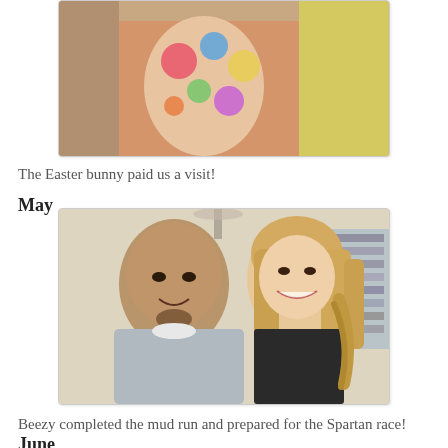[Figure (photo): Partial photo at top of page showing colorful clothing, cropped]
The Easter bunny paid us a visit!
May
[Figure (photo): A man and a woman smiling together indoors, selfie-style photo]
Beezy completed the mud run and prepared for the Spartan race!
June
I turned 30 years old. I thought I was going to be really sad but I